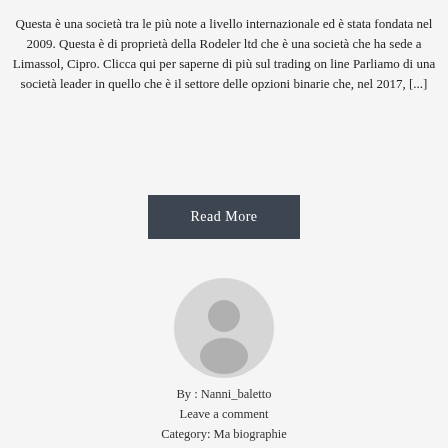Questa è una società tra le più note a livello internazionale ed è stata fondata nel 2009. Questa è di proprietà della Rodeler ltd che è una società che ha sede a Limassol, Cipro. Clicca qui per saperne di più sul trading on line Parliamo di una società leader in quello che è il settore delle opzioni binarie che, nel 2017, [...]
[Figure (other): Read More button — dark grey rectangular button with white text]
[Figure (illustration): Generic user avatar icon — circular grey silhouette of a person]
By : Nanni_baletto
Leave a comment
Category: Ma biographie